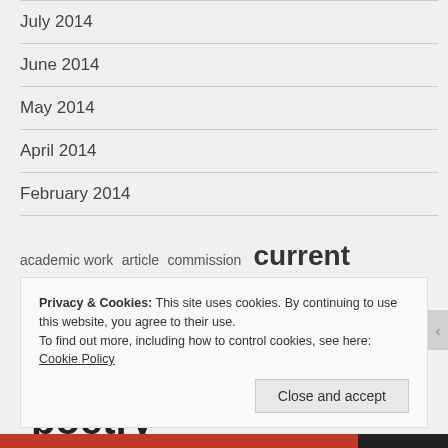July 2014
June 2014
May 2014
April 2014
February 2014
academic work  article  commission  current projects  event  Fantastical  interview  Mundane  poetry
Privacy & Cookies: This site uses cookies. By continuing to use this website, you agree to their use.
To find out more, including how to control cookies, see here: Cookie Policy
Close and accept